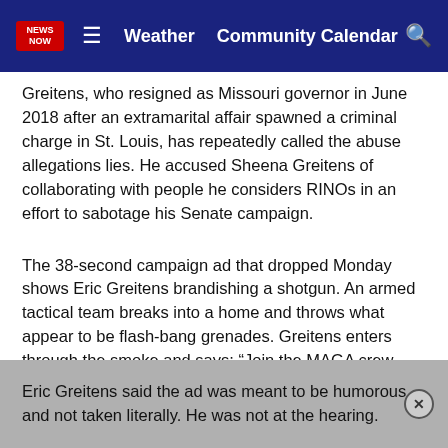NEWS NOW | Weather | Community Calendar
Greitens, who resigned as Missouri governor in June 2018 after an extramarital affair spawned a criminal charge in St. Louis, has repeatedly called the abuse allegations lies. He accused Sheena Greitens of collaborating with people he considers RINOs in an effort to sabotage his Senate campaign.
The 38-second campaign ad that dropped Monday shows Eric Greitens brandishing a shotgun. An armed tactical team breaks into a home and throws what appear to be flash-bang grenades. Greitens enters through the smoke and says: “Join the MAGA crew. Get a RINO hunting permit. There’s no bagging limit, no tagging limit and it doesn’t expire until we save our country.”
Eric Greitens said the ad was meant to be humorous and not taken literally. He was not at the hearing.